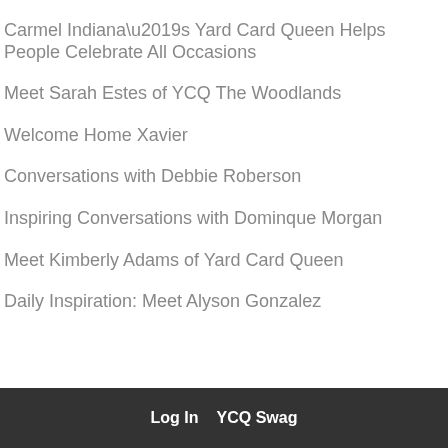Carmel Indiana’s Yard Card Queen Helps People Celebrate All Occasions
Meet Sarah Estes of YCQ The Woodlands
Welcome Home Xavier
Conversations with Debbie Roberson
Inspiring Conversations with Dominque Morgan
Meet Kimberly Adams of Yard Card Queen
Daily Inspiration: Meet Alyson Gonzalez
Log In   YCQ Swag